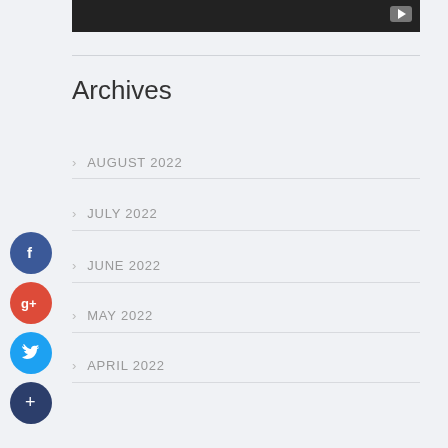[Figure (screenshot): Video thumbnail with dark background and play button icon in top right]
Archives
AUGUST 2022
JULY 2022
JUNE 2022
MAY 2022
APRIL 2022